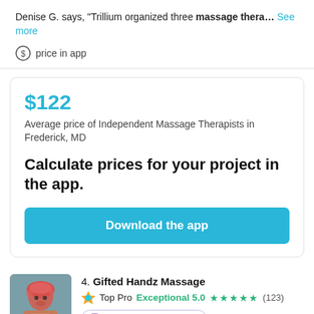Denise G. says, "Trillium organized three massage thera… See more
price in app
$122
Average price of Independent Massage Therapists in Frederick, MD
Calculate prices for your project in the app.
Download the app
4. Gifted Handz Massage
Top Pro Exceptional 5.0 ★★★★★ (123)
Offers remote services
Andrew N. says, "Massage Therapist was unable